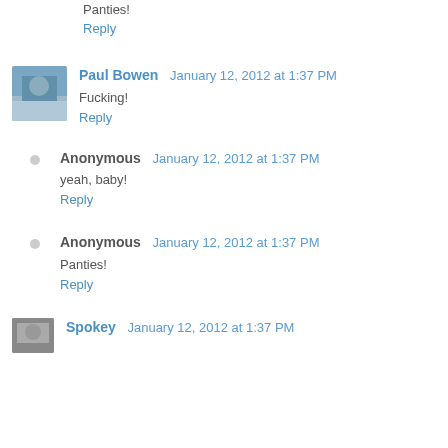Panties!
Reply
Paul Bowen  January 12, 2012 at 1:37 PM
Fucking!
Reply
Anonymous  January 12, 2012 at 1:37 PM
yeah, baby!
Reply
Anonymous  January 12, 2012 at 1:37 PM
Panties!
Reply
Spokey  January 12, 2012 at 1:37 PM